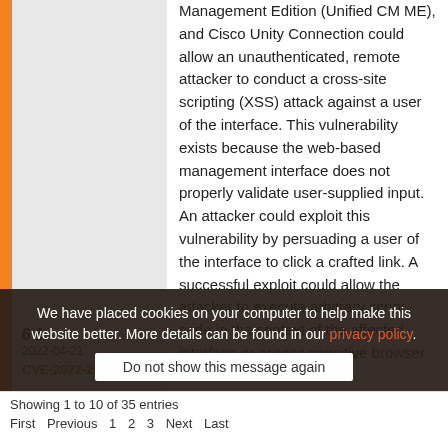Management Edition (Unified CM ME), and Cisco Unity Connection could allow an unauthenticated, remote attacker to conduct a cross-site scripting (XSS) attack against a user of the interface. This vulnerability exists because the web-based management interface does not properly validate user-supplied input. An attacker could exploit this vulnerability by persuading a user of the interface to click a crafted link. A successful exploit could allow the attacker to execute arbitrary script code in the context of the affected interface or access sensitive browser
| Score | Date | CVE ID | Description |
| --- | --- | --- | --- |
| 6.1 | 2022-04-21 | CVE-2022-20788 | (see description column) |
We have placed cookies on your computer to help make this website better. More details can be found in our privacy policy.
Do not show this message again
Showing 1 to 10 of 35 entries
First Previous 1 2 3 Next Last